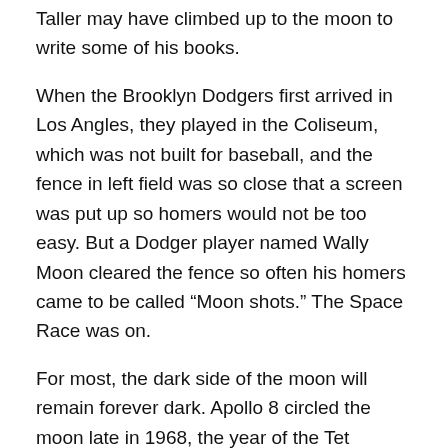Taller may have climbed up to the moon to write some of his books.
When the Brooklyn Dodgers first arrived in Los Angles, they played in the Coliseum, which was not built for baseball, and the fence in left field was so close that a screen was put up so homers would not be too easy. But a Dodger player named Wally Moon cleared the fence so often his homers came to be called “Moon shots.” The Space Race was on.
For most, the dark side of the moon will remain forever dark. Apollo 8 circled the moon late in 1968, the year of the Tet Offensive, so there were other things on minds besides the moon. Eric Sevareid, for one, was unimpressed with the promise of pics from the dark side of the moon. From his short article, “The Dark Side of the Moon” (if following link, scroll about ¼ down):